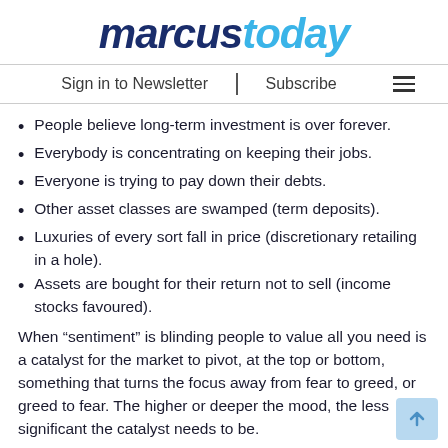marcustoday
Sign in to Newsletter | Subscribe
People believe long-term investment is over forever.
Everybody is concentrating on keeping their jobs.
Everyone is trying to pay down their debts.
Other asset classes are swamped (term deposits).
Luxuries of every sort fall in price (discretionary retailing in a hole).
Assets are bought for their return not to sell (income stocks favoured).
When “sentiment” is blinding people to value all you need is a catalyst for the market to pivot, at the top or bottom, something that turns the focus away from fear to greed, or greed to fear. The higher or deeper the mood, the less significant the catalyst needs to be.